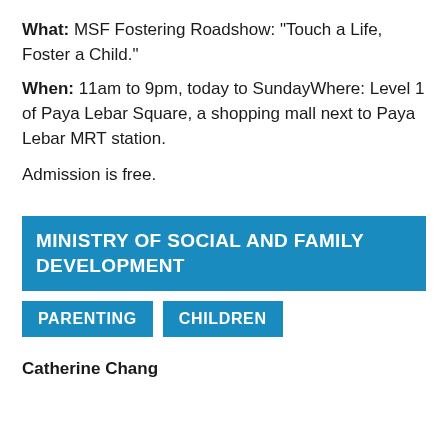What: MSF Fostering Roadshow: "Touch a Life, Foster a Child."
When: 11am to 9pm, today to SundayWhere: Level 1 of Paya Lebar Square, a shopping mall next to Paya Lebar MRT station.
Admission is free.
MINISTRY OF SOCIAL AND FAMILY DEVELOPMENT
PARENTING
CHILDREN
Catherine Chang